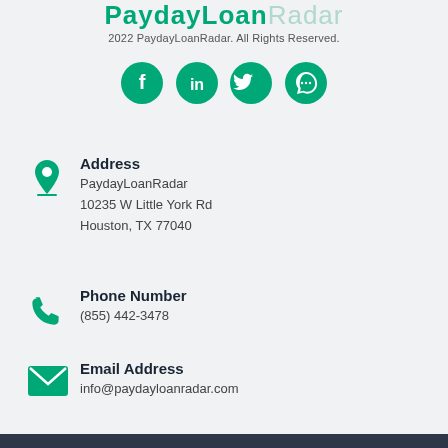PaydayLoanRadar
2022 PaydayLoanRadar. All Rights Reserved.
[Figure (infographic): Social media icons: Facebook, LinkedIn, Twitter, Pinterest — green circles with white icons]
Address
PaydayLoanRadar
10235 W Little York Rd
Houston, TX 77040
Phone Number
(855) 442-3478
Email Address
info@paydayloanradar.com